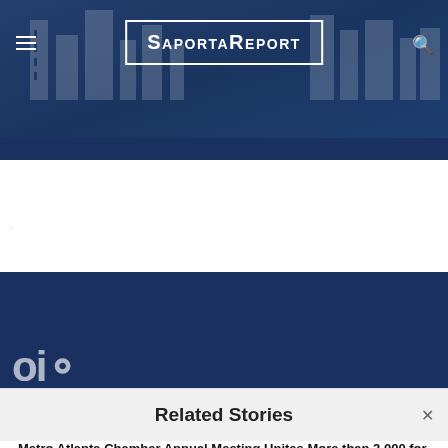SaportaReport
[Figure (photo): Dark navy blue header banner with city skyline background and SaportaReport logo in white with a white border box. Hamburger menu icon on the left, search icon on the right.]
[Figure (photo): Dark navy blue image block partially visible, with large white partially-visible text characters at the bottom edge.]
Related Stories
Metro Atlanta Chamber Annual Meeting Unites More than 2,000 for Recognition of Region's Accomplishments and Debut of ATL Brand Box